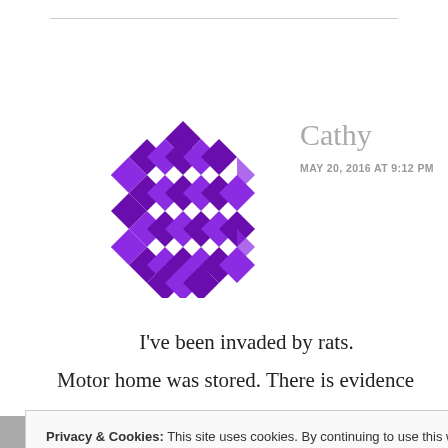[Figure (logo): Purple geometric diamond/quilt pattern avatar icon for commenter Cathy]
Cathy
MAY 20, 2016 AT 9:12 PM
I've been invaded by rats.
Motor home was stored. There is evidence
Privacy & Cookies: This site uses cookies. By continuing to use this website, you agree to their use.
To find out more, including how to control cookies, see here: Cookie Policy
Close and accept